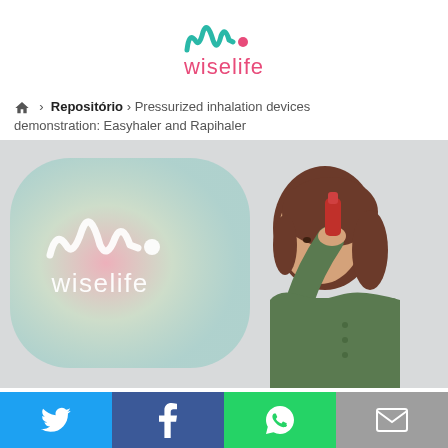[Figure (logo): Wiselife logo: teal cursive 'wl.' symbol above pink 'wiselife' wordmark]
🏠 > Repositório > Pressurized inhalation devices demonstration: Easyhaler and Rapihaler
[Figure (photo): A woman in a green shirt holding a red inhaler device up toward her face, with a Wiselife branded background behind her]
[Figure (infographic): Social sharing bar with Twitter, Facebook, WhatsApp, and Email buttons]